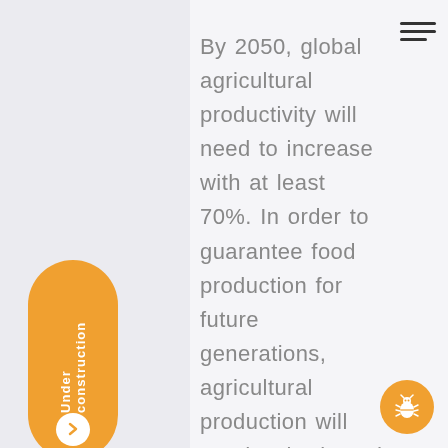By 2050, global agricultural productivity will need to increase with at least 70%. In order to guarantee food production for future generations, agricultural production will need to be based on sustainable
[Figure (infographic): Orange pill-shaped sidebar badge with white text reading 'Under construction' (vertical, rotated) and a white circle arrow button below.]
[Figure (infographic): Orange circular button in the bottom-right corner containing a ladybug/bug icon in white.]